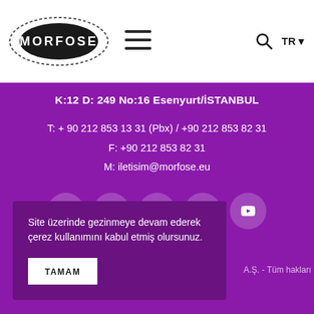[Figure (logo): MORFOSE logo, white text in black oval with dashed ring border, surrounded by text ring reading HAIR CARE SERIES]
[Figure (other): Hamburger menu icon (three horizontal lines)]
[Figure (other): Search icon and TR language selector in header]
K:12 D: 249 No:16 Esenyurt/İSTANBUL
T: + 90 212 853 13 31 (Pbx) / +90 212 853 82 31
F: +90 212 853 82 31
M: iletisim@morfose.eu
[Figure (other): Social media icons: Facebook, Twitter, LinkedIn, Instagram, YouTube — white icons on rounded purple circles]
Site üzerinde gezinmeye devam ederek çerez kullanımını kabul etmiş olursunuz.
TAMAM
A.Ş. - Tüm hakları